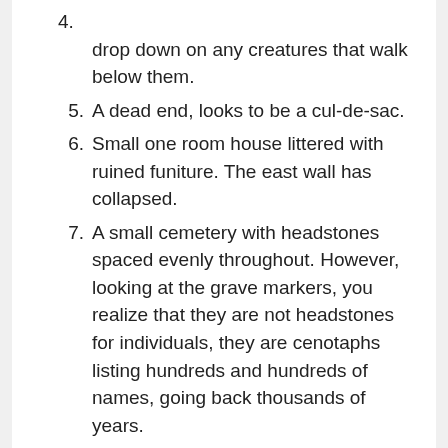drop down on any creatures that walk below them.
5. A dead end, looks to be a cul-de-sac.
6. Small one room house littered with ruined funiture. The east wall has collapsed.
7. A small cemetery with headstones spaced evenly throughout. However, looking at the grave markers, you realize that they are not headstones for individuals, they are cenotaphs listing hundreds and hundreds of names, going back thousands of years.
8. Tavern.
9. Wine cellar at the bottom of a short staircase. The wine has leaked out from all the barrels and there is a film of mold on most of the surfaces. Anyone who enters this room must